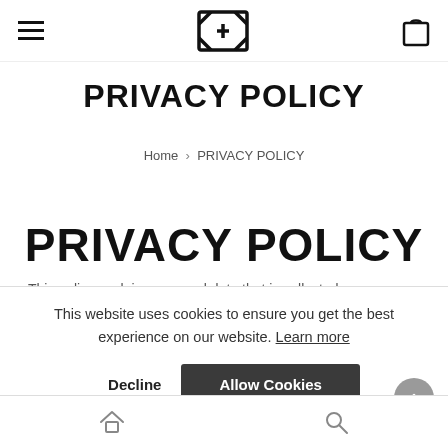Navigation bar with hamburger menu, FX logo, and bag icon
PRIVACY POLICY
Home > PRIVACY POLICY
PRIVACY POLICY
This website uses cookies to ensure you get the best experience on our website. Learn more
This policy explains personal data that is collected or generated (processed) when you use the website "http://explici... also explains
Bottom navigation bar with home and search icons